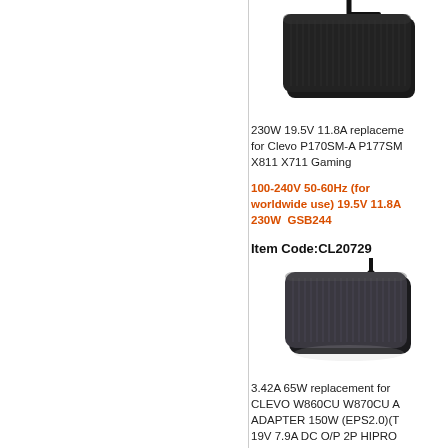[Figure (photo): Photo of a black rectangular laptop power adapter/charger (top product)]
230W 19.5V 11.8A replacement for Clevo P170SM-A P177SM X811 X711 Gaming
100-240V 50-60Hz (for worldwide use) 19.5V 11.8A 230W  GSB244
Item Code:CL20729
[Figure (photo): Photo of a dark grey/black rectangular laptop power adapter/charger (bottom product)]
3.42A 65W replacement for CLEVO W860CU W870CU ADAPTER 150W (EPS2.0)(T 19V 7.9A DC O/P 2P HIPRO